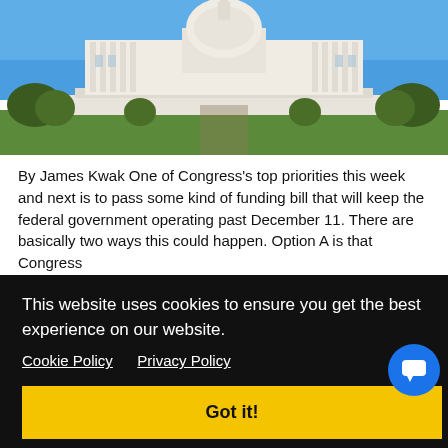[Figure (photo): Photo of the United States Capitol building with blue sky, white neoclassical facade, green lawns, and trees in the foreground.]
By James Kwak One of Congress's top priorities this week and next is to pass some kind of funding bill that will keep the federal government operating past December 11. There are basically two ways this could happen. Option A is that Congress
This website uses cookies to ensure you get the best experience on our website.
Cookie Policy   Privacy Policy
Got it!
James Kwak · December 1, 2020